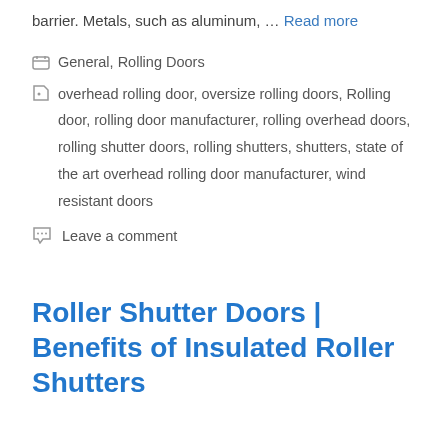barrier. Metals, such as aluminum, … Read more
General, Rolling Doors
overhead rolling door, oversize rolling doors, Rolling door, rolling door manufacturer, rolling overhead doors, rolling shutter doors, rolling shutters, shutters, state of the art overhead rolling door manufacturer, wind resistant doors
Leave a comment
Roller Shutter Doors | Benefits of Insulated Roller Shutters